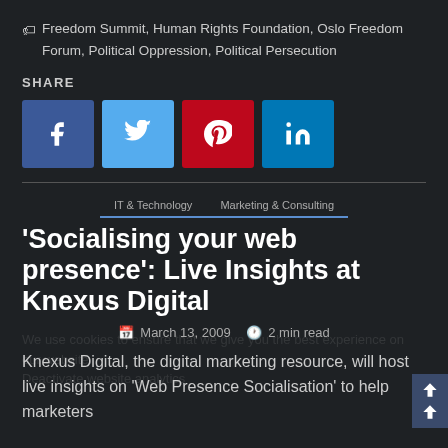Freedom Summit, Human Rights Foundation, Oslo Freedom Forum, Political Oppression, Political Persecution
SHARE
[Figure (infographic): Social sharing buttons: Facebook (blue), Twitter (light blue), Pinterest (red), LinkedIn (blue)]
IT & Technology   Marketing & Consulting
'Socialising your web presence': Live Insights at Knexus Digital
March 13, 2009   2 min read
Knexus Digital, the digital marketing resource, will host live insights on 'Web Presence Socialisation' to help marketers